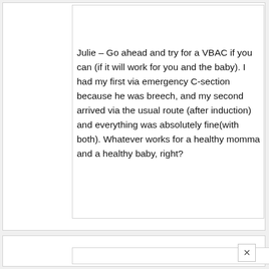hjc says
April 3, 2014 at 5:02 pm
Julie – Go ahead and try for a VBAC if you can (if it will work for you and the baby). I had my first via emergency C-section because he was breech, and my second arrived via the usual route (after induction) and everything was absolutely fine(with both). Whatever works for a healthy momma and a healthy baby, right?